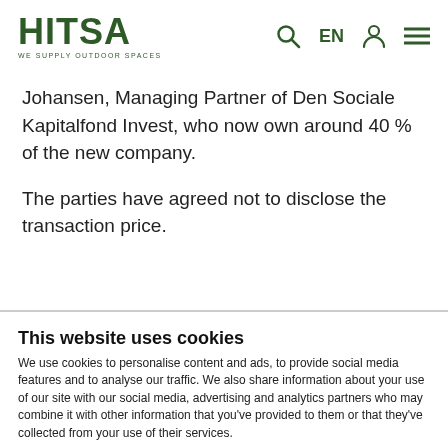HITSA WE SUPPLY OUTDOOR SPACES
Johansen, Managing Partner of Den Sociale Kapitalfond Invest, who now own around 40 % of the new company.
The parties have agreed not to disclose the transaction price.
This website uses cookies
We use cookies to personalise content and ads, to provide social media features and to analyse our traffic. We also share information about your use of our site with our social media, advertising and analytics partners who may combine it with other information that you've provided to them or that they've collected from your use of their services.
Use necessary cookies only | Allow all cookies
Show details